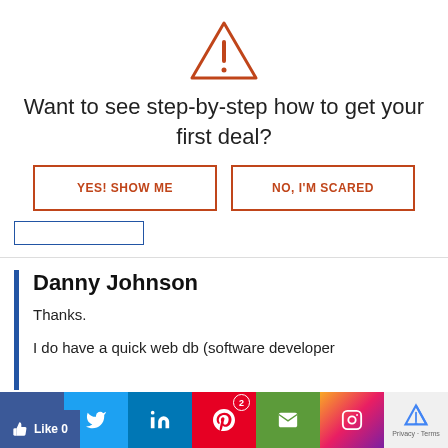[Figure (illustration): Orange warning triangle icon with exclamation mark]
Want to see step-by-step how to get your first deal?
[Figure (other): Two buttons: YES! SHOW ME and NO, I'M SCARED, with a text input placeholder below]
Danny Johnson
Thanks.
I do have a quick web db (software developer
ck (of course I try to find the owner of these
for those that call (so that I can look professional and
[Figure (other): Social sharing bar with Facebook, Twitter, LinkedIn, Pinterest (with badge 2), Email, Instagram icons, reCAPTCHA logo, and Like 0 button]